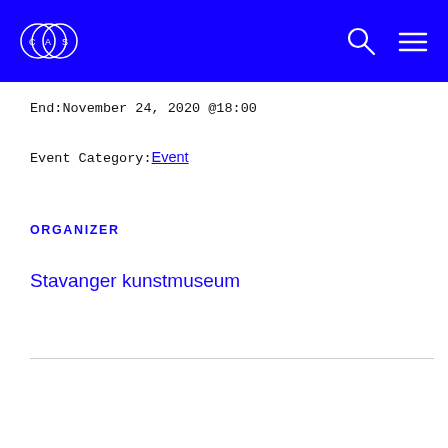CAS logo, search icon, menu icon
End:November 24, 2020 @18:00
Event Category: Event
ORGANIZER
Stavanger kunstmuseum